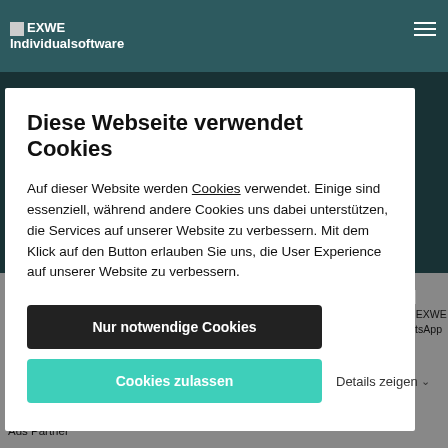EXWE Individualsoftware
Diese Webseite verwendet Cookies
Auf dieser Website werden Cookies verwendet. Einige sind essenziell, während andere Cookies uns dabei unterstützen, die Services auf unserer Website zu verbessern. Mit dem Klick auf den Button erlauben Sie uns, die User Experience auf unserer Website zu verbessern.
Nur notwendige Cookies
Cookies zulassen
Details zeigen
Partnerschaften: PayPal, AmazonPay, Mollie, Seobility, My-Tree, Timme Hosting, IT Club Köln, Shopware AG, Shopware 6 - Certified Developer, Zertifizierung: Shopware 5 - Certified Developer, Google Ads Partner
Schreibe EXWE auf WhatsApp